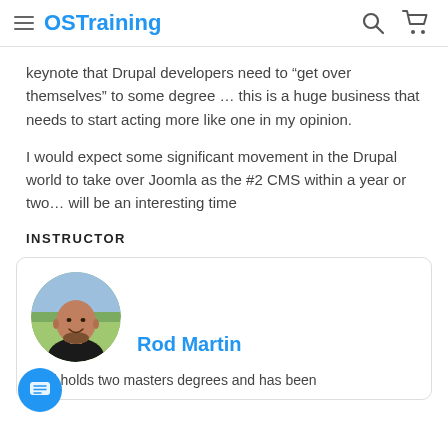OSTraining
keynote that Drupal developers need to “get over themselves” to some degree … this is a huge business that needs to start acting more like one in my opinion.
I would expect some significant movement in the Drupal world to take over Joomla as the #2 CMS within a year or two… will be an interesting time
INSTRUCTOR
[Figure (photo): Circular avatar photo of Rod Martin, a bald man with a beard smiling, shown outdoors]
Rod Martin
Rod holds two masters degrees and has been